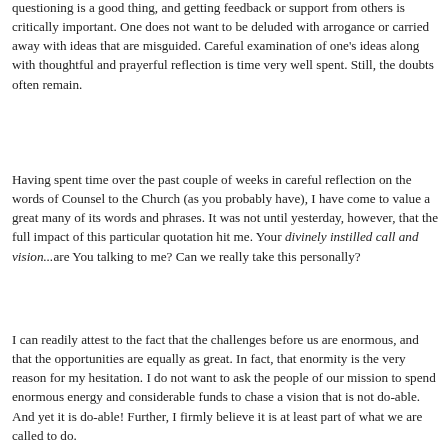questioning is a good thing, and getting feedback or support from others is critically important. One does not want to be deluded with arrogance or carried away with ideas that are misguided. Careful examination of one's ideas along with thoughtful and prayerful reflection is time very well spent. Still, the doubts often remain.
Having spent time over the past couple of weeks in careful reflection on the words of Counsel to the Church (as you probably have), I have come to value a great many of its words and phrases. It was not until yesterday, however, that the full impact of this particular quotation hit me. Your divinely instilled call and vision...are You talking to me? Can we really take this personally?
I can readily attest to the fact that the challenges before us are enormous, and that the opportunities are equally as great. In fact, that enormity is the very reason for my hesitation. I do not want to ask the people of our mission to spend enormous energy and considerable funds to chase a vision that is not do-able. And yet it is do-able! Further, I firmly believe it is at least part of what we are called to do.